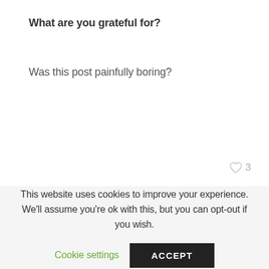What are you grateful for?
Was this post painfully boring?
♡ 3
FILED UNDER:  ARTICLES
TAGGED WITH:  favorites, saturday six
This website uses cookies to improve your experience. We'll assume you're ok with this, but you can opt-out if you wish.
Cookie settings
ACCEPT